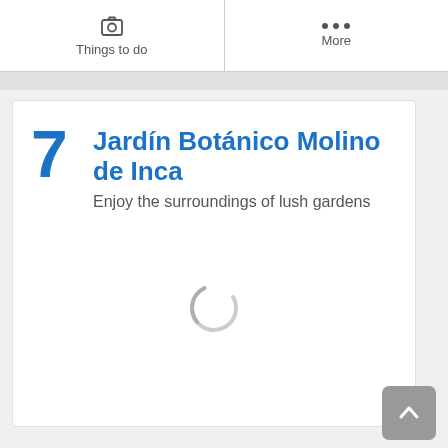Things to do | More
7 Jardín Botánico Molino de Inca
Enjoy the surroundings of lush gardens
[Figure (other): Loading spinner (circular loading indicator) shown in the center of the content area]